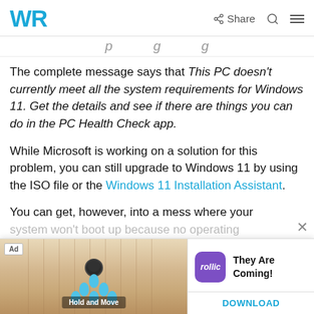WR | Share (icon) Search (icon) Menu (icon)
...p...g...g (partial heading text, scrolled)
The complete message says that This PC doesn't currently meet all the system requirements for Windows 11. Get the details and see if there are things you can do in the PC Health Check app.
While Microsoft is working on a solution for this problem, you can still upgrade to Windows 11 by using the ISO file or the Windows 11 Installation Assistant.
You can get, however, into a mess where your system won't boot up because no operating...
[Figure (screenshot): Mobile advertisement banner for 'Hold and Move' game by Rollic with a bowling lane visual and a 'They Are Coming!' label with DOWNLOAD button]